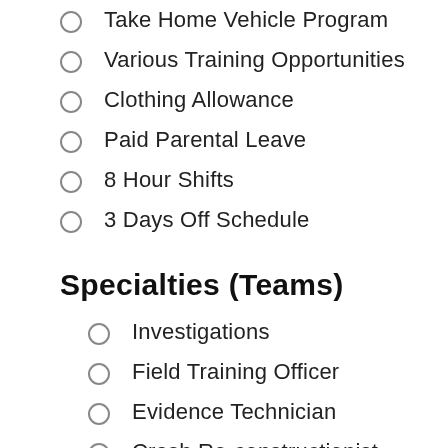Take Home Vehicle Program
Various Training Opportunities
Clothing Allowance
Paid Parental Leave
8 Hour Shifts
3 Days Off Schedule
Specialties (Teams)
Investigations
Field Training Officer
Evidence Technician
Crash Re-constructionist
Bicycle Unit
DARE